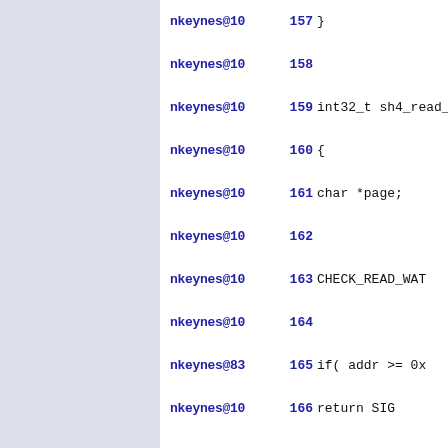nkeynes@10  157 }
nkeynes@10  158
nkeynes@10  159 int32_t sh4_read_w
nkeynes@10  160 {
nkeynes@10  161     char *page;
nkeynes@10  162
nkeynes@10  163     CHECK_READ_WAT
nkeynes@10  164
nkeynes@83  165     if( addr >= 0x
nkeynes@10  166         return SIG